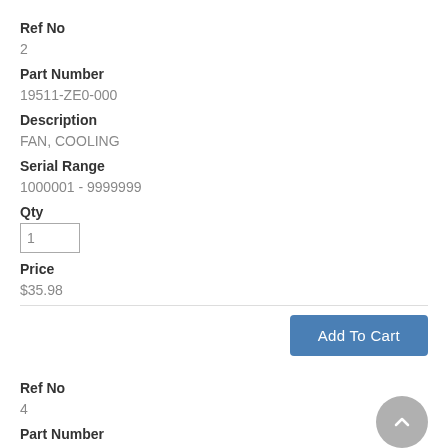Ref No
2
Part Number
19511-ZE0-000
Description
FAN, COOLING
Serial Range
1000001 - 9999999
Qty
1
Price
$35.98
Add To Cart
Ref No
4
Part Number
28451-ZH7-801
Description